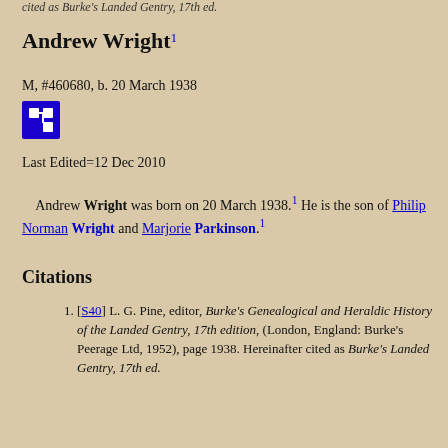cited as Burke's Landed Gentry, 17th ed.
Andrew Wright¹
M, #460680, b. 20 March 1938
Last Edited=12 Dec 2010
Andrew Wright was born on 20 March 1938.¹ He is the son of Philip Norman Wright and Marjorie Parkinson.¹
Citations
[S40] L. G. Pine, editor, Burke's Genealogical and Heraldic History of the Landed Gentry, 17th edition, (London, England: Burke's Peerage Ltd, 1952), page 1938. Hereinafter cited as Burke's Landed Gentry, 17th ed.